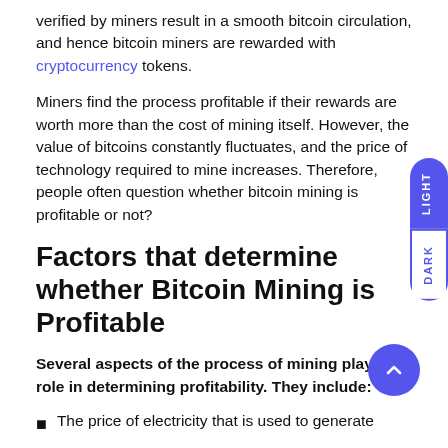verified by miners result in a smooth bitcoin circulation, and hence bitcoin miners are rewarded with cryptocurrency tokens.
Miners find the process profitable if their rewards are worth more than the cost of mining itself. However, the value of bitcoins constantly fluctuates, and the price of technology required to mine increases. Therefore, people often question whether bitcoin mining is profitable or not?
Factors that determine whether Bitcoin Mining is Profitable
Several aspects of the process of mining play a role in determining profitability. They include:
The price of electricity that is used to generate